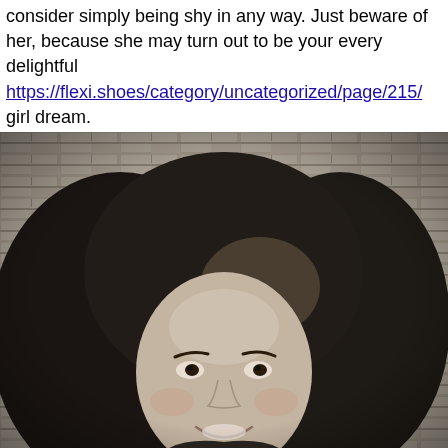consider simply being shy in any way. Just beware of her, because she may turn out to be your every delightful https://flexi.shoes/category/uncategorized/page/215/ girl dream.
[Figure (photo): Black and white photograph of a smiling woman with long curly hair, standing in front of a brick wall background.]